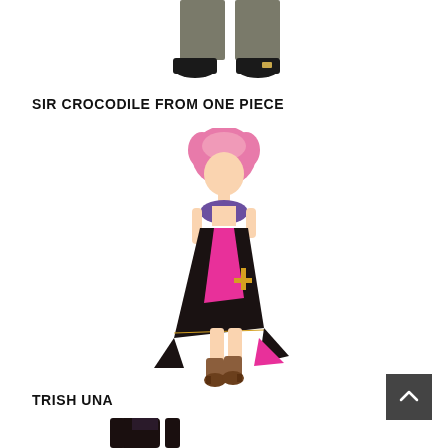[Figure (illustration): Partial view of Sir Crocodile from One Piece anime character, showing lower body with dark shoes and grey pants, cropped at the top of the page.]
SIR CROCODILE FROM ONE PIECE
[Figure (illustration): Full body illustration of Trish Una anime character with pink hair, wearing a purple top and black/pink flowing skirt with a cross pattern, and brown boots.]
TRISH UNA
[Figure (illustration): Partial view of a dark-haired anime character wearing a dark outfit, cropped at the bottom of the page.]